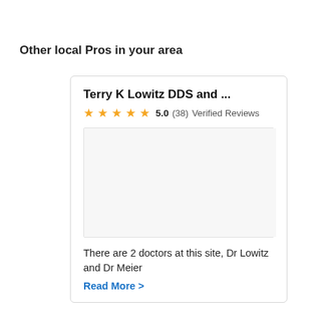Other local Pros in your area
Terry K Lowitz DDS and ...
5.0 (38) Verified Reviews
[Figure (photo): Blank/placeholder image area for the dental practice]
There are 2 doctors at this site, Dr Lowitz and Dr Meier
Read More >